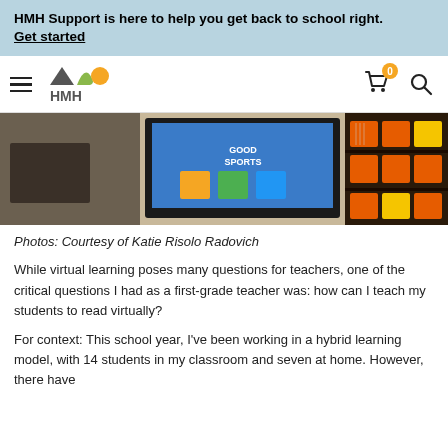HMH Support is here to help you get back to school right. Get started
[Figure (logo): HMH logo with triangle, leaf, and circle shapes above HMH text, navigation bar with hamburger menu, cart icon with 0 badge, and search icon]
[Figure (photo): Classroom photo showing a teacher's desk with monitor displaying colorful educational content, shelves with colored supply bins in orange and yellow on the right]
Photos: Courtesy of Katie Risolo Radovich
While virtual learning poses many questions for teachers, one of the critical questions I had as a first-grade teacher was: how can I teach my students to read virtually?
For context: This school year, I've been working in a hybrid learning model, with 14 students in my classroom and seven at home. However, there have